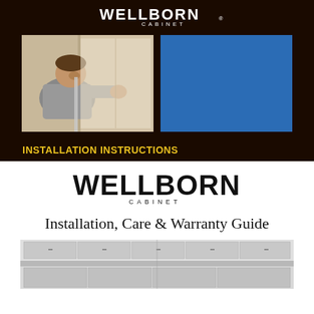[Figure (logo): Wellborn Cabinet logo in white/light color on dark background, top of page]
[Figure (photo): Photo of a man installing a cabinet, leaning in and measuring with a level]
[Figure (illustration): Solid blue rectangle placeholder image]
INSTALLATION INSTRUCTIONS
[Figure (logo): Wellborn Cabinet logo in black on white background]
Installation, Care & Warranty Guide
[Figure (photo): Black and white photo of installed kitchen cabinets at bottom of page]